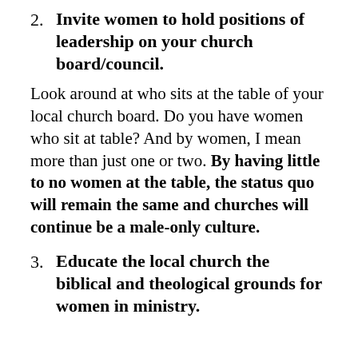2. Invite women to hold positions of leadership on your church board/council.
Look around at who sits at the table of your local church board. Do you have women who sit at table? And by women, I mean more than just one or two. By having little to no women at the table, the status quo will remain the same and churches will continue be a male-only culture.
3. Educate the local church the biblical and theological grounds for women in ministry.